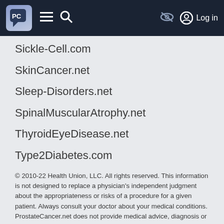PC [logo] | ≡ | ⌕ | [eye-slash icon] | [user icon] Log in
Sickle-Cell.com
SkinCancer.net
Sleep-Disorders.net
SpinalMuscularAtrophy.net
ThyroidEyeDisease.net
Type2Diabetes.com
© 2010-22 Health Union, LLC. All rights reserved. This information is not designed to replace a physician's independent judgment about the appropriateness or risks of a procedure for a given patient. Always consult your doctor about your medical conditions. ProstateCancer.net does not provide medical advice, diagnosis or treatment. Use of the site is conditional upon your acceptance of our terms of use.
This site is protected by reCAPTCHA and the Google Privacy